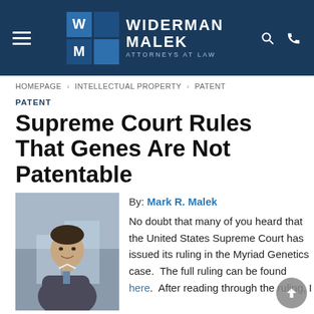Widerman Malek Attorneys at Law
HOMEPAGE > INTELLECTUAL PROPERTY > PATENT
PATENT
Supreme Court Rules That Genes Are Not Patentable
[Figure (photo): Headshot photo of Mark R. Malek, attorney, wearing a suit with arms crossed, smiling, with a blurred outdoor background]
By: Mark R. Malek
No doubt that many of you heard that the United States Supreme Court has issued its ruling in the Myriad Genetics case.  The full ruling can be found here.  After reading through the ruling, I